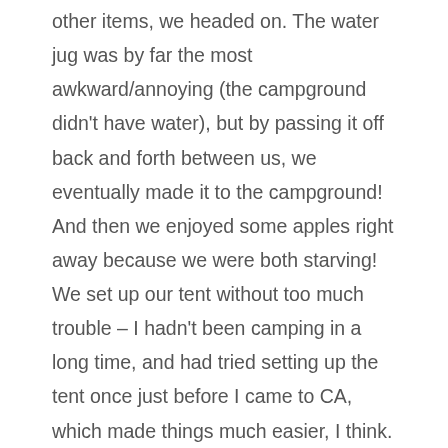other items, we headed on. The water jug was by far the most awkward/annoying (the campground didn't have water), but by passing it off back and forth between us, we eventually made it to the campground! And then we enjoyed some apples right away because we were both starving! We set up our tent without too much trouble – I hadn't been camping in a long time, and had tried setting up the tent once just before I came to CA, which made things much easier, I think. As it was still fairy early in the evening, we set up a bit more, and then settled at our picnic table to enjoy some books for a bit. Once it got a little later, we set up our little stove (no